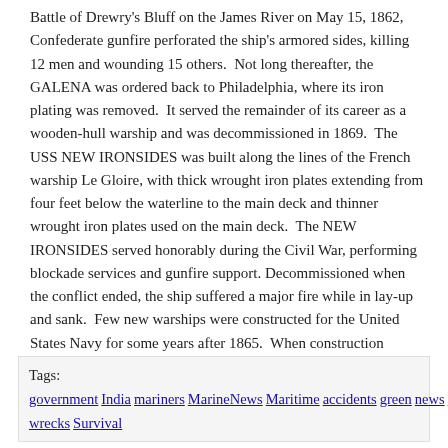Battle of Drewry's Bluff on the James River on May 15, 1862, Confederate gunfire perforated the ship's armored sides, killing 12 men and wounding 15 others.  Not long thereafter, the GALENA was ordered back to Philadelphia, where its iron plating was removed.  It served the remainder of its career as a wooden-hull warship and was decommissioned in 1869.  The USS NEW IRONSIDES was built along the lines of the French warship Le Gloire, with thick wrought iron plates extending from four feet below the waterline to the main deck and thinner wrought iron plates used on the main deck.  The NEW IRONSIDES served honorably during the Civil War, performing blockade services and gunfire support.  Decommissioned when the conflict ended, the ship suffered a major fire while in lay-up and sank.  Few new warships were constructed for the United States Navy for some years after 1865.  When construction started again, iron-clad ships were outmoded.  Rather, the new ships were of all-metal construction, more along the lines of the HMS Warrior, rather than the iron-clad wooden hulls similar to the Le Gloire.
Tags: government India mariners MarineNews Maritime accidents green news shipowner marine sailors Captain casualties carrier ministers worldwide environment seafarer environmental safety Harbor disaster wrecks Survival